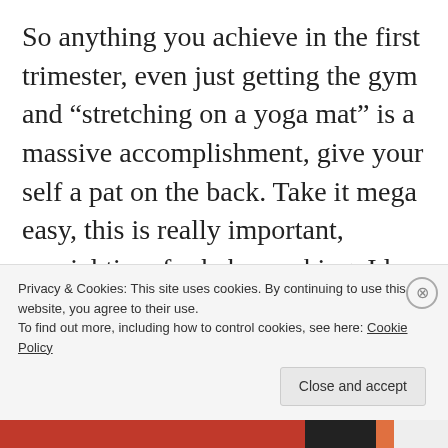So anything you achieve in the first trimester, even just getting the gym and “stretching on a yoga mat” is a massive accomplishment, give your self a pat on the back. Take it mega easy, this is really important, crucial time for baby cooking. Id stick to things that don’t make you jiggle around too much and
Privacy & Cookies: This site uses cookies. By continuing to use this website, you agree to their use.
To find out more, including how to control cookies, see here: Cookie Policy
Close and accept